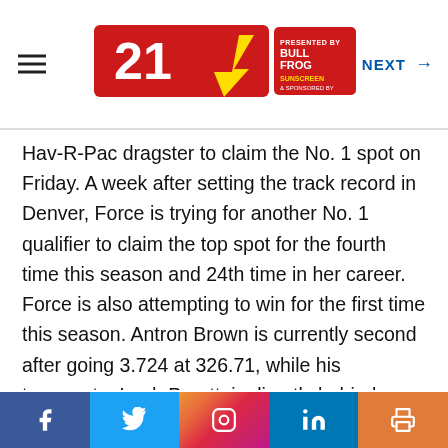NEXT →
Hav-R-Pac dragster to claim the No. 1 spot on Friday. A week after setting the track record in Denver, Force is trying for another No. 1 qualifier to claim the top spot for the fourth time this season and 24th time in her career. Force is also attempting to win for the first time this season. Antron Brown is currently second after going 3.724 at 326.71, while his teammate, Leah Pruett, is directly behind thanks to her pass of 3.749 at 323.97.
Hartford is on track to accomplish a major first in his standout Pro Stock career, going 6.533 at 209.92 in his Total Seal Chevrolet Camaro. That gave him the provisional No. 1 position on Friday and should it hold,